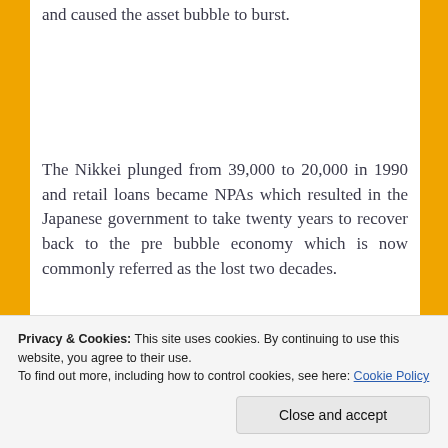and caused the asset bubble to burst.
The Nikkei plunged from 39,000 to 20,000 in 1990 and retail loans became NPAs which resulted in the Japanese government to take twenty years to recover back to the pre bubble economy which is now commonly referred as the lost two decades.
Privacy & Cookies: This site uses cookies. By continuing to use this website, you agree to their use.
To find out more, including how to control cookies, see here: Cookie Policy